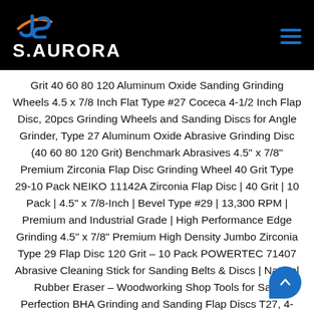S.AURORA
Grit 40 60 80 120 Aluminum Oxide Sanding Grinding Wheels 4.5 x 7/8 Inch Flat Type #27 Coceca 4-1/2 Inch Flap Disc, 20pcs Grinding Wheels and Sanding Discs for Angle Grinder, Type 27 Aluminum Oxide Abrasive Grinding Disc (40 60 80 120 Grit) Benchmark Abrasives 4.5" x 7/8" Premium Zirconia Flap Disc Grinding Wheel 40 Grit Type 29-10 Pack NEIKO 11142A Zirconia Flap Disc | 40 Grit | 10 Pack | 4.5" x 7/8-Inch | Bevel Type #29 | 13,300 RPM | Premium and Industrial Grade | High Performance Edge Grinding 4.5" x 7/8" Premium High Density Jumbo Zirconia Type 29 Flap Disc 120 Grit – 10 Pack POWERTEC 71407 Abrasive Cleaning Stick for Sanding Belts & Discs | Natural Rubber Eraser – Woodworking Shop Tools for Sa... Perfection BHA Grinding and Sanding Flap Discs T27, 4-